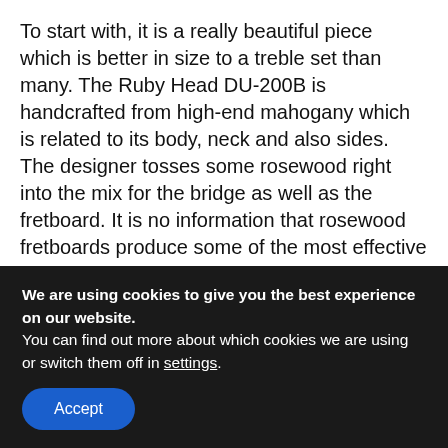To start with, it is a really beautiful piece which is better in size to a treble set than many. The Ruby Head DU-200B is handcrafted from high-end mahogany which is related to its body, neck and also sides. The designer tosses some rosewood right into the mix for the bridge as well as the fretboard. It is no information that rosewood fretboards produce some of the most effective playability. The nut and also saddle, nevertheless, are constructed out of white plastic.
As for the tuners, the picked ones are guitar– design geared receivers with white plastic switches to aid
We are using cookies to give you the best experience on our website.
You can find out more about which cookies we are using or switch them off in settings.
Accept